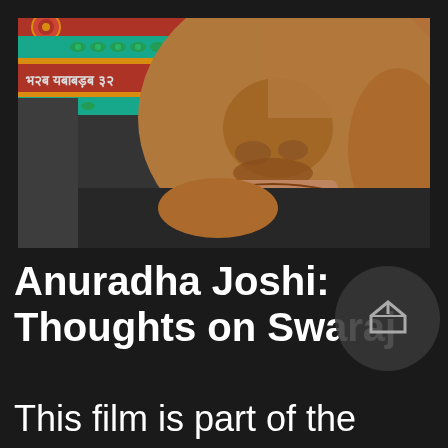[Figure (photo): Close-up photograph of a person's face (lower portion visible, showing nose and mouth), with colorful decorative background featuring red, teal, and gold patterns with text in Gujarati or similar script. Person is wearing a dark/black top.]
Anuradha Joshi: Thoughts on Swaraj
This film is part of the